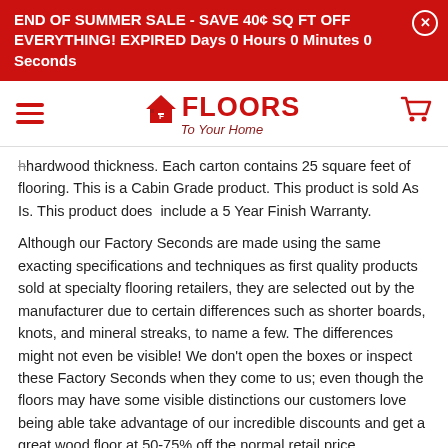END OF SUMMER SALE - SAVE 40¢ SQ FT OFF EVERYTHING! EXPIRED Days 0 Hours 0 Minutes 0 Seconds
[Figure (logo): Floors To Your Home logo with house icon and red text]
hardwood thickness. Each carton contains 25 square feet of flooring. This is a Cabin Grade product. This product is sold As Is. This product does include a 5 Year Finish Warranty.
Although our Factory Seconds are made using the same exacting specifications and techniques as first quality products sold at specialty flooring retailers, they are selected out by the manufacturer due to certain differences such as shorter boards, knots, and mineral streaks, to name a few. The differences might not even be visible! We don't open the boxes or inspect these Factory Seconds when they come to us; even though the floors may have some visible distinctions our customers love being able take advantage of our incredible discounts and get a great wood floor at 50-75% off the normal retail price.